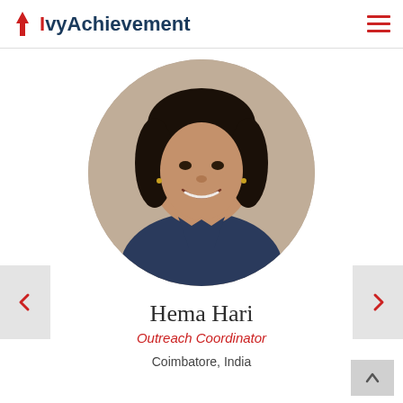IvyAchievement
[Figure (photo): Circular headshot photo of Hema Hari, a woman with dark hair, smiling, wearing a navy blue shirt, against a light beige background.]
Hema Hari
Outreach Coordinator
Coimbatore, India